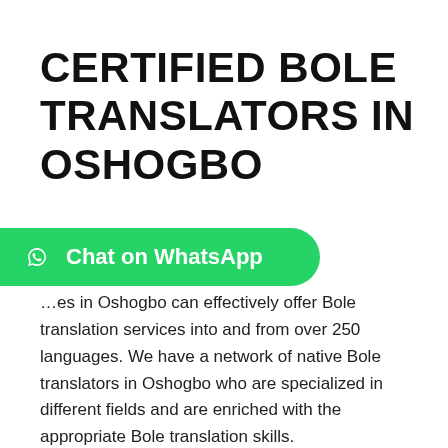CERTIFIED BOLE TRANSLATORS IN OSHOGBO
[Figure (other): Green WhatsApp button with WhatsApp logo icon and text 'Chat on WhatsApp']
…es in Oshogbo can effectively offer Bole translation services into and from over 250 languages. We have a network of native Bole translators in Oshogbo who are specialized in different fields and are enriched with the appropriate Bole translation skills.
Fortunately, each client project is cross-checked by another professional Bole translator to ensure there wasn't any error and the Bole translation doesn't